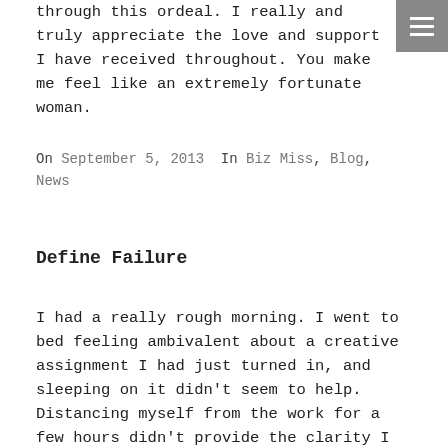through this ordeal. I really and truly appreciate the love and support I have received throughout. You make me feel like an extremely fortunate woman.
On September 5, 2013  In Biz Miss, Blog, News
Define Failure
I had a really rough morning. I went to bed feeling ambivalent about a creative assignment I had just turned in, and sleeping on it didn't seem to help. Distancing myself from the work for a few hours didn't provide the clarity I was hoping for, and instead I awoke with that